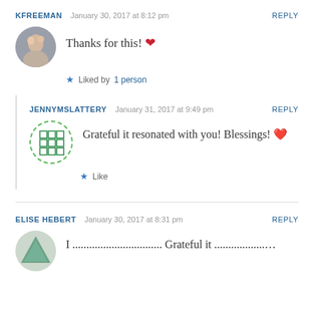KFREEMAN   January 30, 2017 at 8:12 pm   REPLY
Thanks for this! ❤
★ Liked by 1 person
JENNYMSLATTERY   January 31, 2017 at 9:49 pm   REPLY
Grateful it resonated with you! Blessings! 💕
★ Like
ELISE HEBERT   January 30, 2017 at 8:31 pm   REPLY